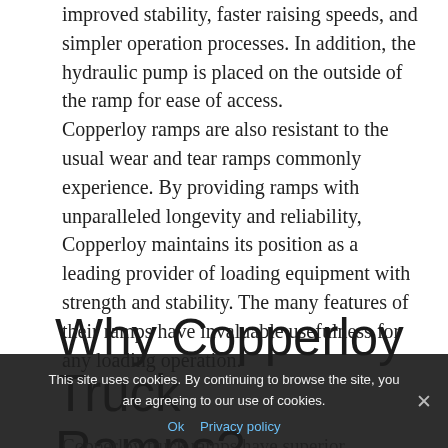improved stability, faster raising speeds, and simpler operation processes. In addition, the hydraulic pump is placed on the outside of the ramp for ease of access. Copperloy ramps are also resistant to the usual wear and tear ramps commonly experience. By providing ramps with unparalleled longevity and reliability, Copperloy maintains its position as a leading provider of loading equipment with strength and stability. The many features of their ramps have invaluable usefulness for any loading operation.
Why Copperloy Truck Ramps?
Copperloy truck ramps have superior functionality
This site uses cookies. By continuing to browse the site, you are agreeing to our use of cookies.
Ok  Privacy policy